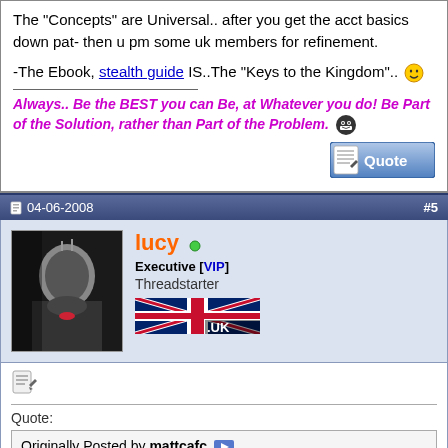The "Concepts" are Universal.. after you get the acct basics down pat- then u pm some uk members for refinement.
-The Ebook, stealth guide IS..The "Keys to the Kingdom"..
Always.. Be the BEST you can Be, at Whatever you do! Be Part of the Solution, rather than Part of the Problem.
[Figure (illustration): Quote button graphic]
04-06-2008   #5
[Figure (photo): Avatar of user lucy - black and white face image]
lucy  Executive [VIP] Threadstarter
[Figure (illustration): UK flag banner with .UK text]
[Figure (illustration): Post/edit icon]
Quote:
Originally Posted by mattcafc
You will open a new account if you follow one of the guides. The problem is down the line they will link it to your paypal account or your address etc, and it will get closed. You will probably go through about 10 new accounts before you finally get everything right and get an account sorted that wont get closed. So be prepared for a lot of work to get things right
wouldn't it be better to a fresh a/c right, one that will last and